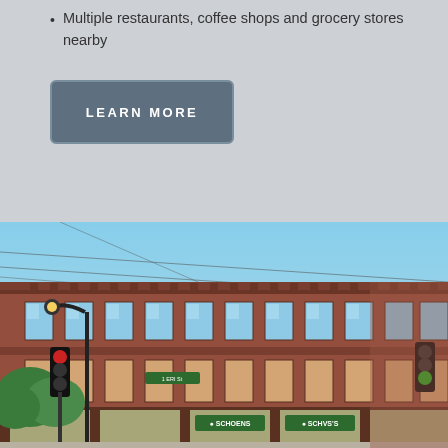Multiple restaurants, coffee shops and grocery stores nearby
LEARN MORE
[Figure (photo): Street-level photograph of a historic two-story red brick commercial building on a corner, with green store signs reading 'SCHOENS' on the ground floor, a street lamp and traffic lights visible, and a bright blue sky in the background.]